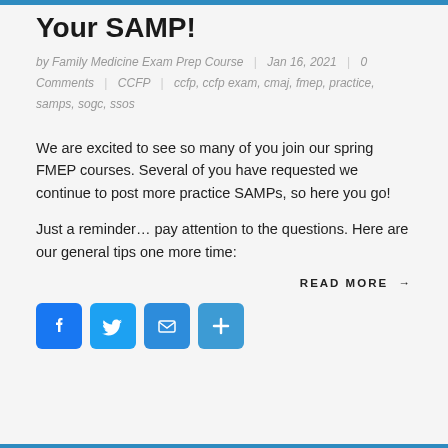Your SAMP!
by Family Medicine Exam Prep Course | Jan 16, 2021 | 0 Comments | CCFP | ccfp, ccfp exam, cmaj, fmep, practice, samps, sogc, ssos
We are excited to see so many of you join our spring FMEP courses. Several of you have requested we continue to post more practice SAMPs, so here you go!
Just a reminder… pay attention to the questions. Here are our general tips one more time:
READ MORE →
[Figure (other): Social sharing icons: Facebook (blue), Twitter (light blue), Email (blue), Share/Plus (blue)]